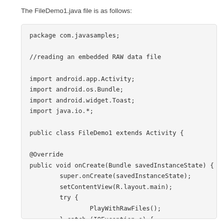The FileDemo1.java file is as follows:
[Figure (screenshot): Code block showing Java source file FileDemo1.java with package declaration, imports, and class definition including onCreate method with try-catch block]